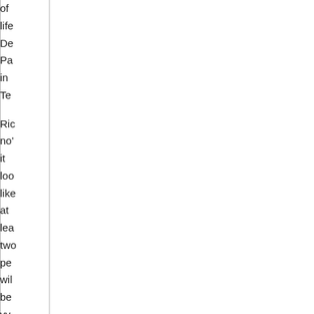of life De Pa in Te Rig no' it loo like at lea two pe wil be vy for tha ch tho I